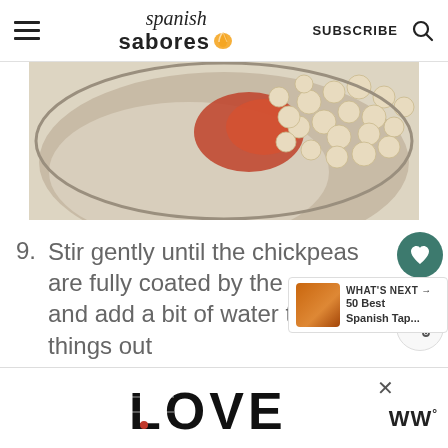Spanish Sabores — SUBSCRIBE
[Figure (photo): Close-up of chickpeas and tomato sauce in a pan, showing the cooking process for a Spanish chickpea dish.]
9. Stir gently until the chickpeas are fully coated by the sauce and add a bit of water to thin things out
[Figure (infographic): WHAT'S NEXT arrow label with thumbnail image and text: 50 Best Spanish Tap...]
[Figure (infographic): Advertisement banner showing decorative LOVE text logo and WW degree logo]